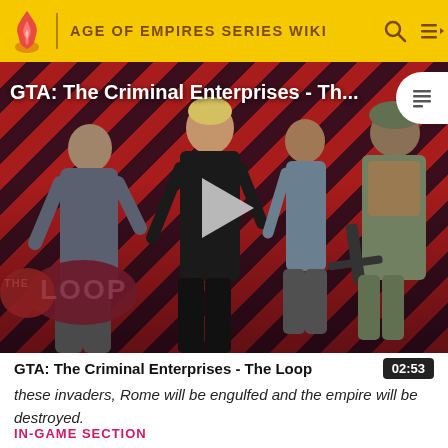AGE OF EMPIRES SERIES WIKI
[Figure (screenshot): Video thumbnail for 'GTA: The Criminal Enterprises - Th...' showing GTA Online characters on a red and black diagonal-striped background with 'THE LOOP' logo overlay and a play button in the center.]
GTA: The Criminal Enterprises - The Loop
these invaders, Rome will be engulfed and the empire will be destroyed.
IN-GAME SECTION